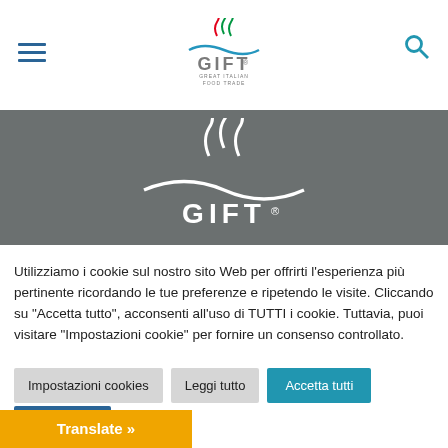[Figure (logo): GIFT Great Italian Food Trade logo in header with hamburger menu icon on left and search icon on right]
[Figure (logo): GIFT logo (white version) on dark grey banner background]
Utilizziamo i cookie sul nostro sito Web per offrirti l'esperienza più pertinente ricordando le tue preferenze e ripetendo le visite. Cliccando su "Accetta tutto", acconsenti all'uso di TUTTI i cookie. Tuttavia, puoi visitare "Impostazioni cookie" per fornire un consenso controllato.
Impostazioni cookies
Leggi tutto
Accetta tutti
Rifiuta tutti
Translate »